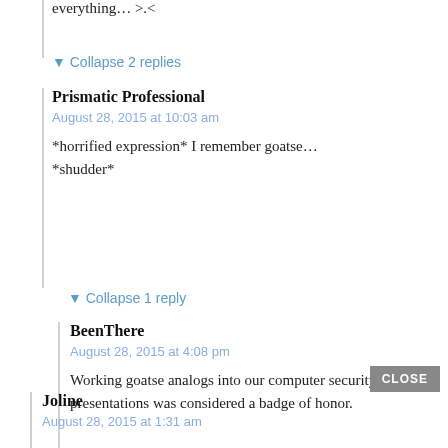everything… >.<
▼ Collapse 2 replies
Prismatic Professional
August 28, 2015 at 10:03 am
*horrified expression* I remember goatse… *shudder*
▼ Collapse 1 reply
BeenThere
August 28, 2015 at 4:08 pm
Working goatse analogs into our computer security presentations was considered a badge of honor.
CLOSE
Joline
August 28, 2015 at 1:31 am